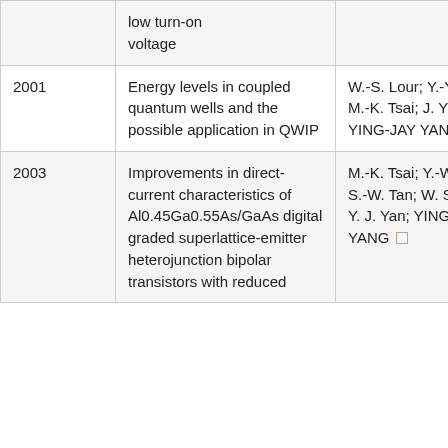| Year | Title | Authors |
| --- | --- | --- |
|  | low turn-on voltage |  |
| 2001 | Energy levels in coupled quantum wells and the possible application in QWIP | W.-S. Lour; Y.-Y. Chen; M.-K. Tsai; J. Yang; YING-JAY YANG |
| 2003 | Improvements in direct-current characteristics of Al0.45Ga0.55As/GaAs digital graded superlattice-emitter heterojunction bipolar transistors with reduced | M.-K. Tsai; Y.-W. Wu; S.-W. Tan; W. S. Lour; Y. J. Yan; YING-JAY YANG |